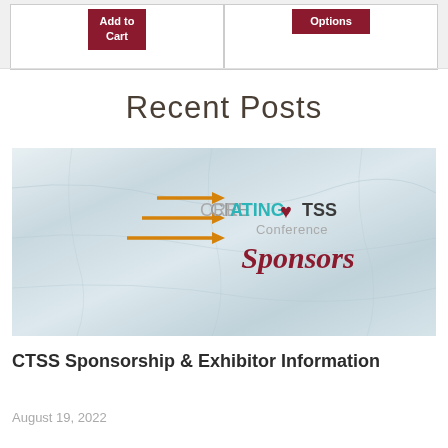[Figure (screenshot): Two dark red buttons at top: 'Add to Cart' and 'Options' on white card backgrounds]
Recent Posts
[Figure (logo): CREATING heart TSS Conference Sponsors logo on crumpled paper background with orange arrows pointing right]
CTSS Sponsorship & Exhibitor Information
August 19, 2022